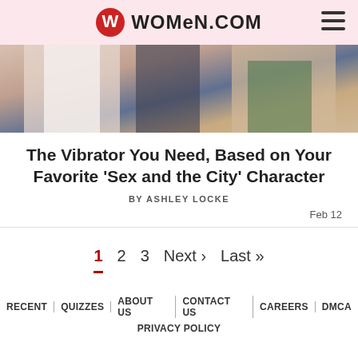WOMEN.COM
[Figure (photo): Cropped photo of women from torso down, wearing summer clothing]
The Vibrator You Need, Based on Your Favorite 'Sex and the City' Character
BY ASHLEY LOCKE
Feb 12
1  2  3  Next ›  Last »
RECENT | QUIZZES | ABOUT US | CONTACT US | CAREERS | DMCA
PRIVACY POLICY